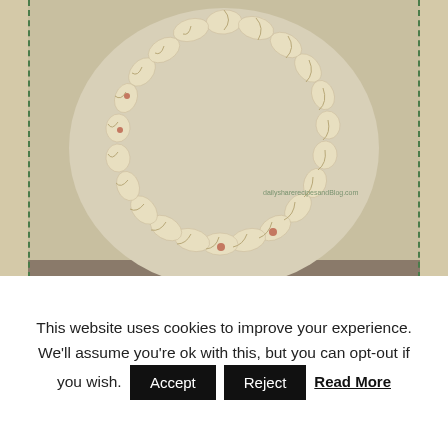[Figure (photo): Crescent roll-wrapped mini hot dogs arranged in a wreath/ring shape on parchment paper, unbaked, viewed from above. A watermark reads 'dailysharerecipesandBlog.com'.]
10. Serve with sauce of your choice or ketchup. Enjoy!
[Figure (photo): Partial view of baked pigs in blankets on a red plate, cropped at bottom of content area.]
This website uses cookies to improve your experience. We'll assume you're ok with this, but you can opt-out if you wish. Accept Reject Read More